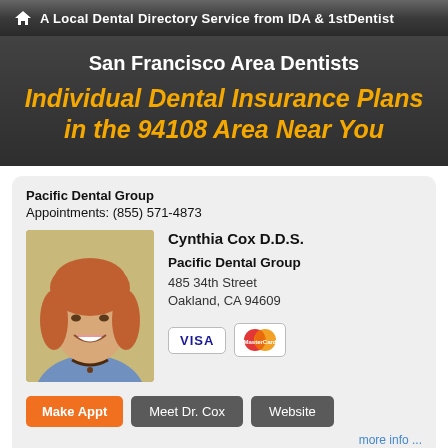A Local Dental Directory Service from IDA & 1stDentist
San Francisco Area Dentists
Individual Dental Insurance Plans in the 94108 Area Near You
Pacific Dental Group
Appointments: (855) 571-4873
[Figure (photo): Headshot photo of Dr. Cynthia Cox D.D.S., a woman with reddish-brown hair, smiling, wearing a blue top and necklace]
Cynthia Cox D.D.S.
Pacific Dental Group
485 34th Street
Oakland, CA 94609
VISA | MasterCard
Make Appt   Meet Dr. Cox   Website
more info ...